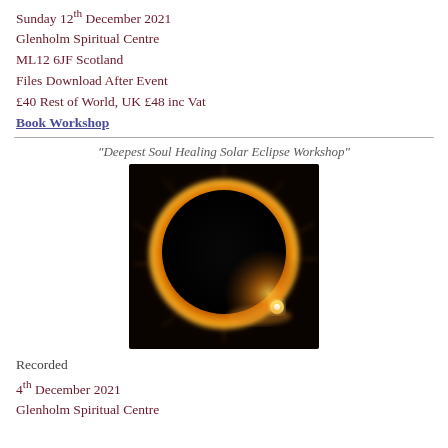Sunday 12th December 2021
Glenholm Spiritual Centre
ML12 6JF Scotland
Files Download After Event
£40 Rest of World, UK £48 inc Vat
Book Workshop
“Deepest Soul Healing Solar Eclipse Workshop”
[Figure (photo): Solar eclipse photograph showing a dark circular moon blocking the sun, with a bright golden corona and light rays visible around the edges against a dark background.]
Recorded
4th December 2021
Glenholm Spiritual Centre